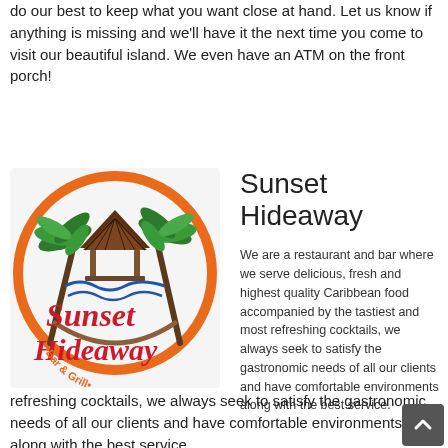do our best to keep what you want close at hand. Let us know if anything is missing and we'll have it the next time you come to visit our beautiful island. We even have an ATM on the front porch!
[Figure (logo): Sunset Hideaway Bar & Grill circular logo with palm trees, a thatched hut over water, and red cursive text]
Sunset Hideaway
We are a restaurant and bar where we serve delicious, fresh and highest quality Caribbean food accompanied by the tastiest and most refreshing cocktails, we always seek to satisfy the gastronomic needs of all our clients and have comfortable environments along with the best service.